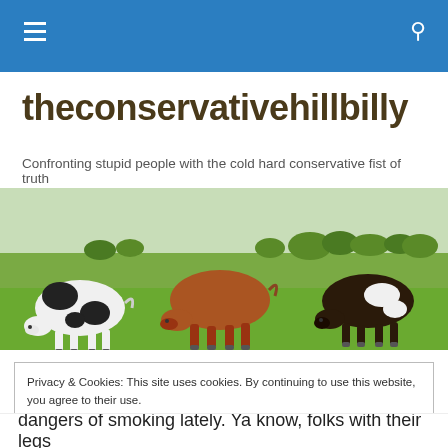theconservativehillbilly navigation bar
theconservativehillbilly
Confronting stupid people with the cold hard conservative fist of truth
[Figure (photo): Three cows grazing on a green field — two black-and-white and one brown — with a rural landscape in the background.]
Privacy & Cookies: This site uses cookies. By continuing to use this website, you agree to their use.
To find out more, including how to control cookies, see here: Cookie Policy
Close and accept
dangers of smoking lately. Ya know, folks with their legs